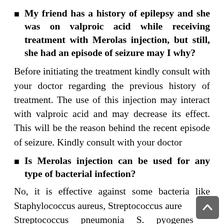My friend has a history of epilepsy and she was on valproic acid while receiving treatment with Merolas injection, but still, she had an episode of seizure may I why?
Before initiating the treatment kindly consult with your doctor regarding the previous history of treatment. The use of this injection may interact with valproic acid and may decrease its effect. This will be the reason behind the recent episode of seizure. Kindly consult with your doctor
Is Merolas injection can be used for any type of bacterial infection?
No, it is effective against some bacteria like Staphylococcus aureus, Streptococcus aure Streptococcus pneumonia S. pyogenes